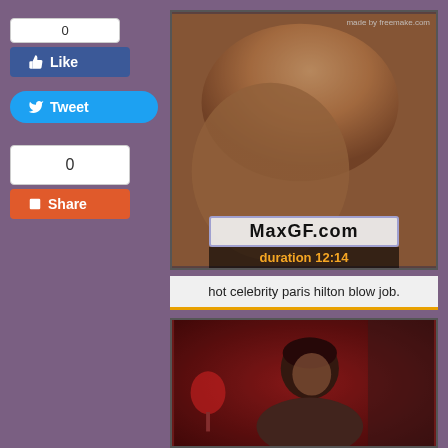[Figure (screenshot): Social media buttons panel: Like button with count 0 (Facebook style, blue), Tweet button (Twitter blue), Share button with count 0 (orange/red)]
[Figure (screenshot): Video thumbnail 1: blurry skin-toned image with watermark 'made by freemake.com', MaxGF.com overlay badge, duration label '12:14' in orange]
hot celebrity paris hilton blow job.
[Figure (screenshot): Video thumbnail 2: person with dark hair in a red-toned room setting]